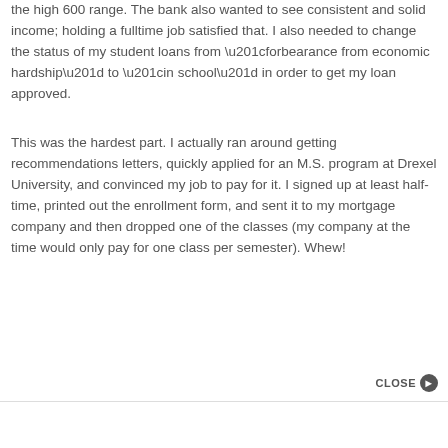the high 600 range. The bank also wanted to see consistent and solid income; holding a fulltime job satisfied that. I also needed to change the status of my student loans from “forbearance from economic hardship” to “in school” in order to get my loan approved.
This was the hardest part. I actually ran around getting recommendations letters, quickly applied for an M.S. program at Drexel University, and convinced my job to pay for it. I signed up at least half-time, printed out the enrollment form, and sent it to my mortgage company and then dropped one of the classes (my company at the time would only pay for one class per semester). Whew!